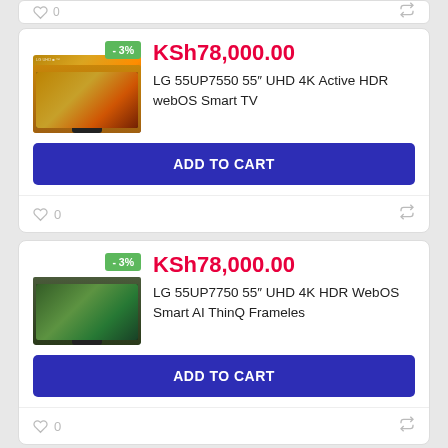[Figure (screenshot): Top of a product card partially visible, showing heart icon with 0 and compare arrows icon]
[Figure (photo): LG UHD 4K TV product image with -3% discount badge]
KSh78,000.00
LG 55UP7550 55" UHD 4K Active HDR webOS Smart TV
ADD TO CART
0
[Figure (photo): LG UHD 4K TV product image with -3% discount badge]
KSh78,000.00
LG 55UP7750 55" UHD 4K HDR WebOS Smart AI ThinQ Frameles
ADD TO CART
0